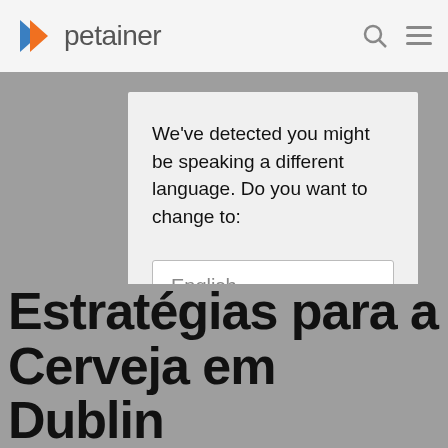[Figure (logo): Petainer logo with play-button style icon in orange/blue and grey text 'petainer']
We've detected you might be speaking a different language. Do you want to change to:
[Figure (screenshot): Dropdown selector showing 'English' with a grey triangle arrow]
Change Language
Close and do not switch language
Estratégias para a Cerveja em Dublin